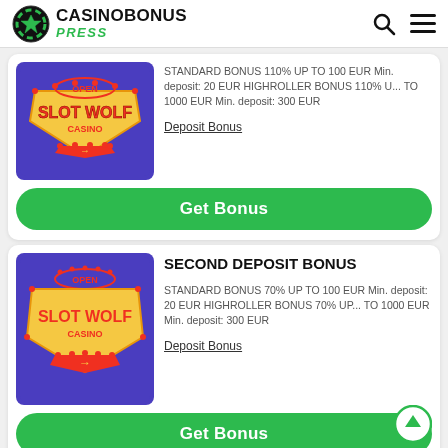CASINOBONUS PRESS
[Figure (logo): Slot Wolf Casino logo on purple background]
STANDARD BONUS 110% UP TO 100 EUR Min. deposit: 20 EUR HIGHROLLER BONUS 110% U... TO 1000 EUR Min. deposit: 300 EUR
Deposit Bonus
Get Bonus
SECOND DEPOSIT BONUS
[Figure (logo): Slot Wolf Casino logo on purple background]
STANDARD BONUS 70% UP TO 100 EUR Min. deposit: 20 EUR HIGHROLLER BONUS 70% UP... TO 1000 EUR Min. deposit: 300 EUR
Deposit Bonus
Get Bonus